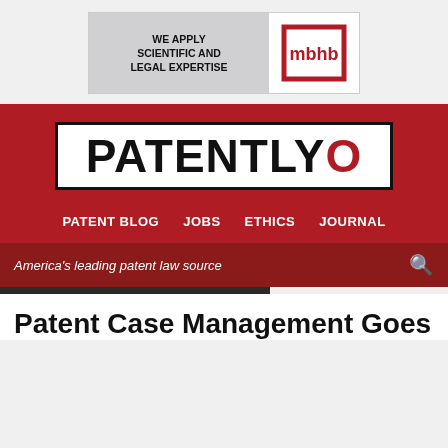[Figure (logo): MBHB law firm advertisement banner with text 'WE APPLY SCIENTIFIC AND LEGAL EXPERTISE' and mbhb logo in red]
[Figure (logo): Patently-O website logo on white background inside red header section]
PATENT BLOG   JOBS   ETHICS   JOURNAL
America's leading patent law source
Patent Case Management Goes